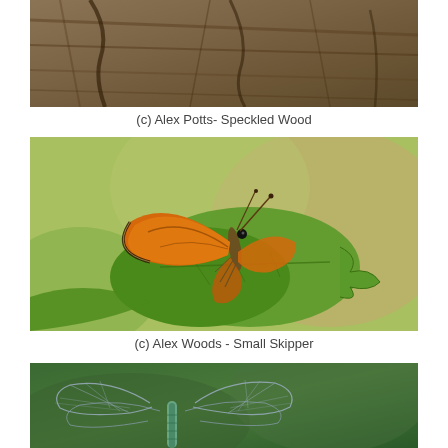[Figure (photo): Top portion of a Speckled Wood butterfly photograph, showing brown bark/wood texture background, cropped at top of page]
(c) Alex Potts- Speckled Wood
[Figure (photo): Close-up photograph of a Small Skipper butterfly with orange wings perched on a green leaf, with blurred green background]
(c) Alex Woods - Small Skipper
[Figure (photo): Partial photograph of a dragonfly or damselfly with visible wings against a green background, cropped at bottom of page]